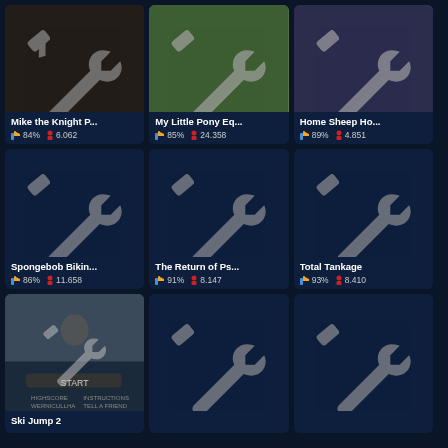[Figure (screenshot): Mike the Knight game thumbnail with wrench icon overlay]
Mike the Knight P...
84% 6.062
[Figure (screenshot): My Little Pony Equestria game thumbnail with wrench icon overlay]
My Little Pony Eq...
85% 24.358
[Figure (screenshot): Home Sheep Home game thumbnail with wrench icon overlay]
Home Sheep Ho...
89% 4.851
[Figure (screenshot): Spongebob Bikini Bottom game placeholder with wrench icon]
Spongebob Bikin...
86% 11.658
[Figure (screenshot): The Return of Ps... game placeholder with wrench icon]
The Return of Ps...
91% 8.147
[Figure (screenshot): Total Tankage game placeholder with wrench icon]
Total Tankage
93% 8.410
[Figure (screenshot): Ski Jump 2 game thumbnail with start screen visible]
Ski Jump 2
[Figure (screenshot): Game placeholder with wrench icon]
[Figure (screenshot): Game placeholder with wrench icon]